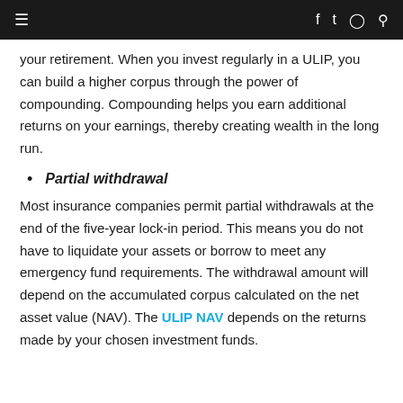≡  f  t  ⊙  🔍
your retirement. When you invest regularly in a ULIP, you can build a higher corpus through the power of compounding. Compounding helps you earn additional returns on your earnings, thereby creating wealth in the long run.
Partial withdrawal
Most insurance companies permit partial withdrawals at the end of the five-year lock-in period. This means you do not have to liquidate your assets or borrow to meet any emergency fund requirements. The withdrawal amount will depend on the accumulated corpus calculated on the net asset value (NAV). The ULIP NAV depends on the returns made by your chosen investment funds.